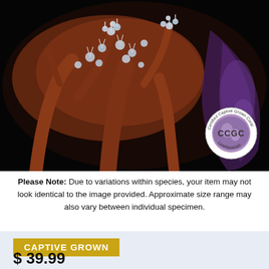[Figure (photo): Close-up photograph of a captive grown coral (likely a soft coral/Xenia or Sinularia species) with reddish-brown stalks and white/blue polyps, against a black background. A CCGC (Certified Captive Grown Coral) circular badge from LiveAquaria is overlaid in the lower right corner.]
Please Note: Due to variations within species, your item may not look identical to the image provided. Approximate size range may also vary between individual specimen.
CAPTIVE GROWN
$ 39.99